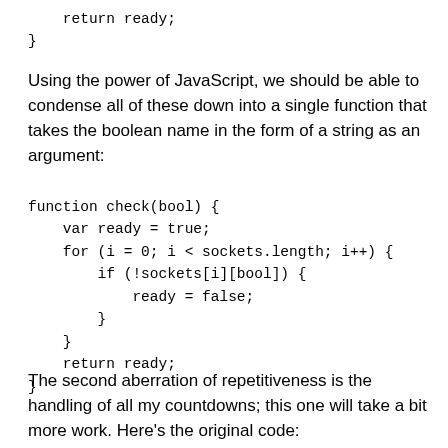return ready;
}
Using the power of JavaScript, we should be able to condense all of these down into a single function that takes the boolean name in the form of a string as an argument:
function check(bool) {
    var ready = true;
    for (i = 0; i < sockets.length; i++) {
        if (!sockets[i][bool]) {
            ready = false;
        }
    }
    return ready;
}
The second aberration of repetitiveness is the handling of all my countdowns; this one will take a bit more work. Here's the original code: